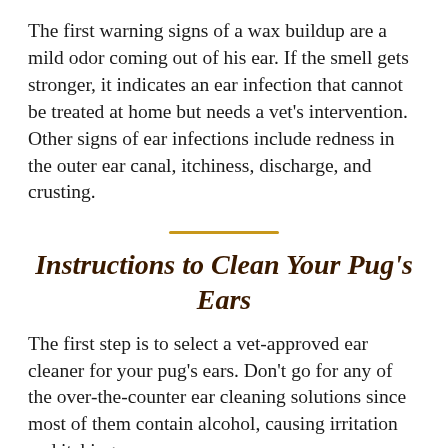The first warning signs of a wax buildup are a mild odor coming out of his ear. If the smell gets stronger, it indicates an ear infection that cannot be treated at home but needs a vet's intervention. Other signs of ear infections include redness in the outer ear canal, itchiness, discharge, and crusting.
Instructions to Clean Your Pug's Ears
The first step is to select a vet-approved ear cleaner for your pug's ears. Don't go for any of the over-the-counter ear cleaning solutions since most of them contain alcohol, causing irritation and itching..